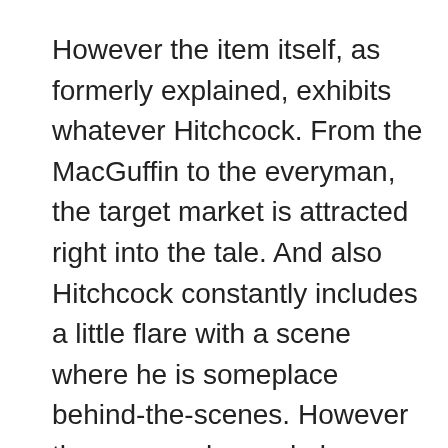However the item itself, as formerly explained, exhibits whatever Hitchcock. From the MacGuffin to the everyman, the target market is attracted right into the tale. And also Hitchcock constantly includes a little flare with a scene where he is someplace behind-the-scenes. However the cam angles and also specific shot choice is where one can not leave his proficiency. From his use vast angle lens to produce aesthetic crookedness to his over the shoulder shots that offer an altered point of view to his remarkable 360-degree kiss where we are drawn right into both the improvement of Judy in Madeleine and also nightmarishly attracted right into Jimmy's altered